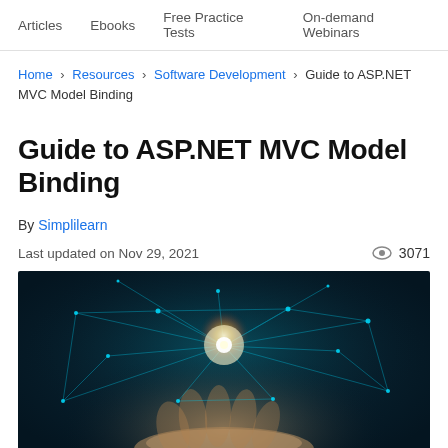Articles   Ebooks   Free Practice Tests   On-demand Webinars
Home > Resources > Software Development > Guide to ASP.NET MVC Model Binding
Guide to ASP.NET MVC Model Binding
By Simplilearn
Last updated on Nov 29, 2021    👁 3071
[Figure (photo): A hand holding a glowing digital network sphere with light nodes and connections against a dark teal background]